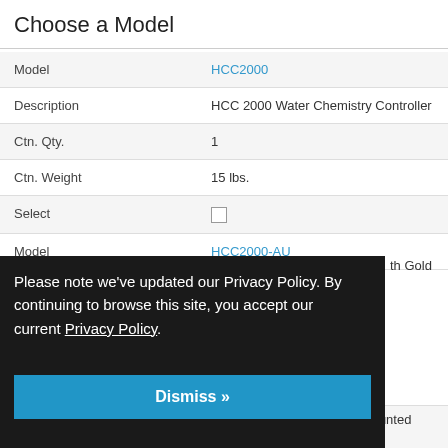Choose a Model
| Field | Value |
| --- | --- |
| Model | HCC2000 |
| Description | HCC 2000 Water Chemistry Controller |
| Ctn. Qty. | 1 |
| Ctn. Weight | 15 lbs. |
| Select | ☐ |
| Model | HCC2000-AU |
Please note we've updated our Privacy Policy. By continuing to browse this site, you accept our current Privacy Policy.
Dismiss »
th Gold
ackage with Pre-Mounted Chemical Feed